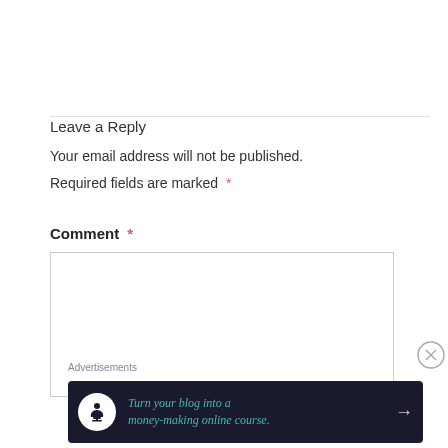Leave a Reply
Your email address will not be published.
Required fields are marked *
Comment *
Advertisements
[Figure (infographic): Advertisement banner with dark background: 'Turn your blog into a money-making online course.' with a tree/person icon and arrow]